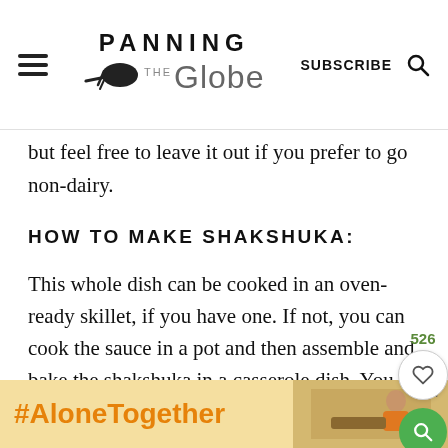Panning The Globe | SUBSCRIBE
but feel free to leave it out if you prefer to go non-dairy.
HOW TO MAKE SHAKSHUKA:
This whole dish can be cooked in an oven-ready skillet, if you have one. If not, you can cook the sauce in a pot and then assemble and bake the shakshuka in a casserole dish. You can make this with fresh or frozen spinach.
[Figure (other): Ad banner with #AloneTogether text and woman in kitchen photo]
[Figure (other): Floating social save button with 526 count and green search button]